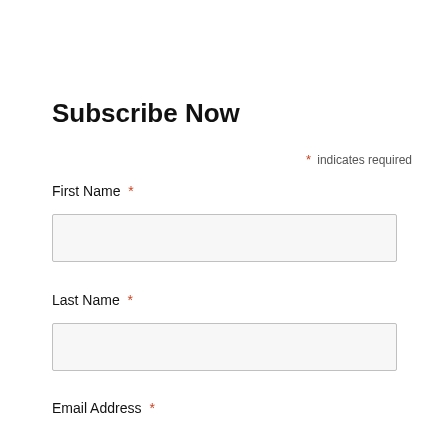Subscribe Now
* indicates required
First Name *
Last Name *
Email Address *